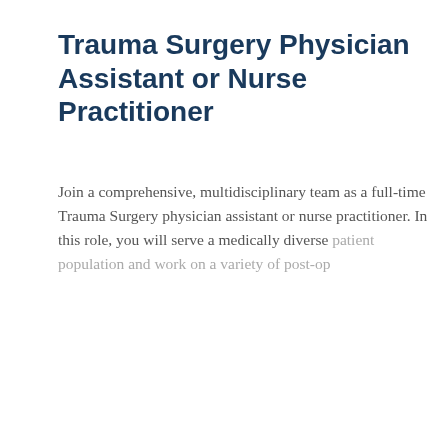Trauma Surgery Physician Assistant or Nurse Practitioner
Join a comprehensive, multidisciplinary team as a full-time Trauma Surgery physician assistant or nurse practitioner. In this role, you will serve a medically diverse patient population and work on a variety of post-op
This job listing is no longer active.
Cookie Settings
Got it
We use cookies so that we can remember you and understand how you use our site. If you do not agree with our use of cookies, please change the current settings found in our Cookie Policy. Otherwise, you agree to the use of the cookies as they are currently set.